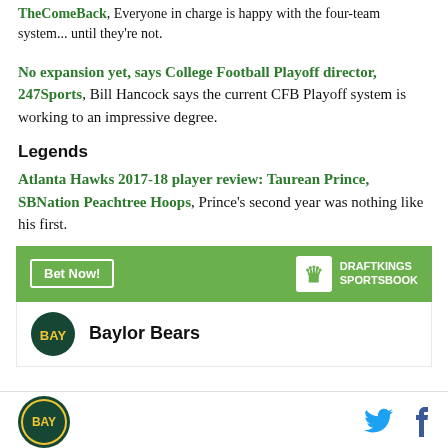TheComeBack, Everyone in charge is happy with the four-team system... until they're not.
No expansion yet, says College Football Playoff director, 247Sports, Bill Hancock says the current CFB Playoff system is working to an impressive degree.
Legends
Atlanta Hawks 2017-18 player review: Taurean Prince, SBNation Peachtree Hoops, Prince's second year was nothing like his first.
[Figure (other): DraftKings Sportsbook advertisement banner with green background, Bet Now! button, and DraftKings Sportsbook logo]
Baylor Bears
[Figure (logo): Baylor Bears circular logo and social media icons (Twitter and Facebook) in page footer]